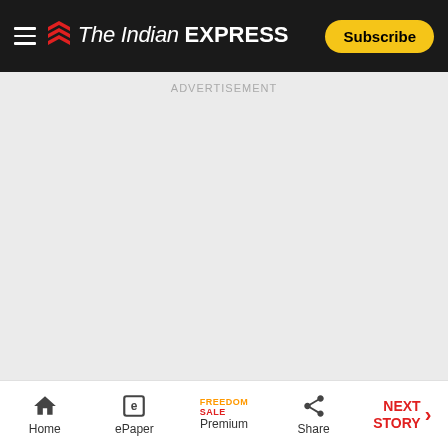The Indian EXPRESS — Subscribe
[Figure (other): Advertisement placeholder area with light grey background]
ADVERTISEMENT
The response time of the police is seven minutes
Home | ePaper | Premium FREEDOM SALE | Share | NEXT STORY